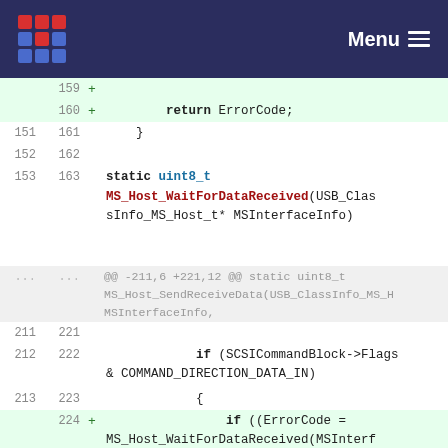Menu
[Figure (screenshot): Code diff view showing changes to USB MS Host driver. Lines 159-160 are additions (green) showing return ErrorCode; Lines 151-163 show static uint8_t MS_Host_WaitForDataReceived function. Hunk header at -211,6 +221,12. Lines 211-213/221-223 show context with if (SCSICommandBlock->Flags & COMMAND_DIRECTION_DATA_IN). Lines 224-226 are additions showing if ((ErrorCode = MS_Host_WaitForDataReceived(MSInterfaceInfo)) != PIPE_RWSTREAM_NoError), {, and Pipe_Freeze();]